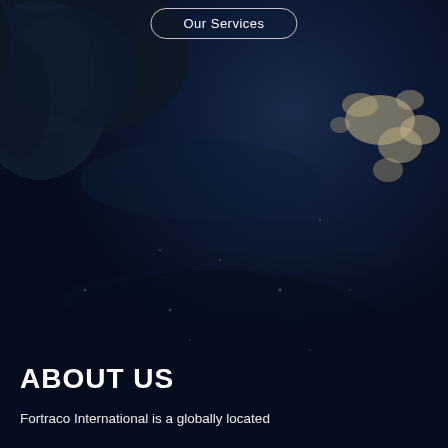[Figure (photo): Dark satellite-view photo of Earth at night showing ocean and landmasses, predominantly deep navy blue with some illuminated coastal areas visible in the upper right]
Our Services
ABOUT US
Fortraco International is a globally located